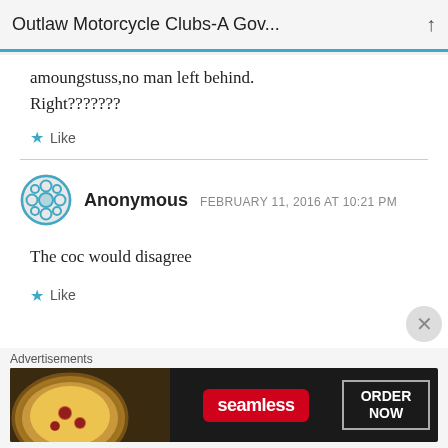Outlaw Motorcycle Clubs-A Gov...
amoungstuss,no man left behind. Right???????
Like
Anonymous  FEBRUARY 11, 2016 AT 10:21 PM
The coc would disagree
Like
[Figure (other): Seamless food delivery advertisement banner with pizza image, red Seamless logo, and ORDER NOW button]
Advertisements